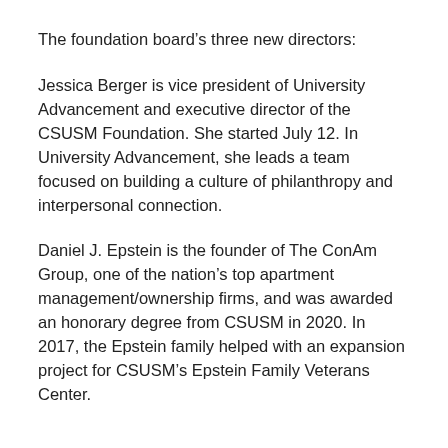The foundation board's three new directors:
Jessica Berger is vice president of University Advancement and executive director of the CSUSM Foundation. She started July 12. In University Advancement, she leads a team focused on building a culture of philanthropy and interpersonal connection.
Daniel J. Epstein is the founder of The ConAm Group, one of the nation’s top apartment management/ownership firms, and was awarded an honorary degree from CSUSM in 2020. In 2017, the Epstein family helped with an expansion project for CSUSM’s Epstein Family Veterans Center.